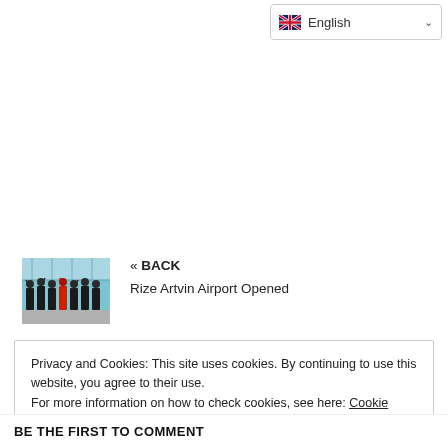English
[Figure (photo): Thumbnail photo of group of people at Rize Artvin Airport opening ceremony]
« BACK
Rize Artvin Airport Opened
Privacy and Cookies: This site uses cookies. By continuing to use this website, you agree to their use.
For more information on how to check cookies, see here: Cookie Policy
OK
BE THE FIRST TO COMMENT